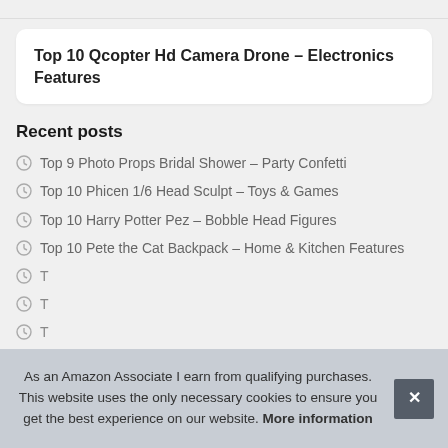Top 10 Qcopter Hd Camera Drone – Electronics Features
Recent posts
Top 9 Photo Props Bridal Shower – Party Confetti
Top 10 Phicen 1/6 Head Sculpt – Toys & Games
Top 10 Harry Potter Pez – Bobble Head Figures
Top 10 Pete the Cat Backpack – Home & Kitchen Features
T…
T…
T…
As an Amazon Associate I earn from qualifying purchases. This website uses the only necessary cookies to ensure you get the best experience on our website. More information